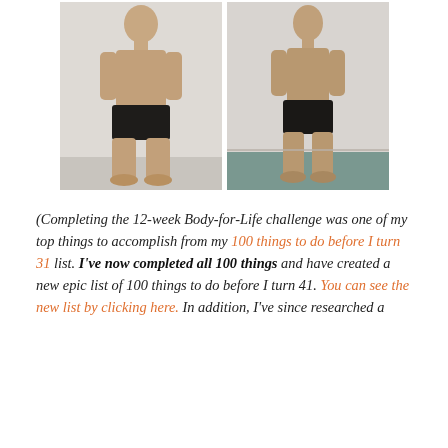[Figure (photo): Two side-by-side before and after photos of a young man in black shorts showing body transformation from a 12-week Body-for-Life challenge. Before photo on left, after photo on right.]
(Completing the 12-week Body-for-Life challenge was one of my top things to accomplish from my 100 things to do before I turn 31 list. I've now completed all 100 things and have created a new epic list of 100 things to do before I turn 41. You can see the new list by clicking here. In addition, I've since researched a